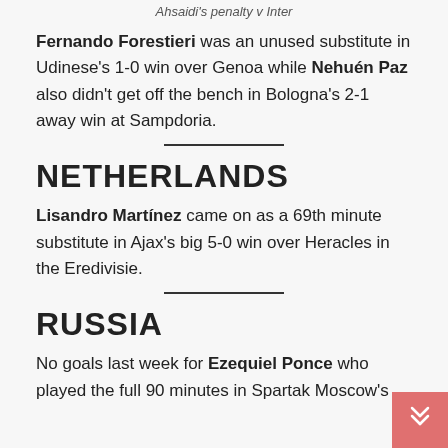Ahsaidi's penalty v Inter
Fernando Forestieri was an unused substitute in Udinese's 1-0 win over Genoa while Nehuén Paz also didn't get off the bench in Bologna's 2-1 away win at Sampdoria.
NETHERLANDS
Lisandro Martínez came on as a 69th minute substitute in Ajax's big 5-0 win over Heracles in the Eredivisie.
RUSSIA
No goals last week for Ezequiel Ponce who played the full 90 minutes in Spartak Moscow's